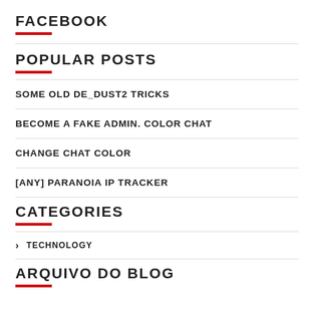FACEBOOK
POPULAR POSTS
SOME OLD DE_DUST2 TRICKS
BECOME A FAKE ADMIN. COLOR CHAT
CHANGE CHAT COLOR
[ANY] PARANOIA IP TRACKER
CATEGORIES
> TECHNOLOGY
ARQUIVO DO BLOG